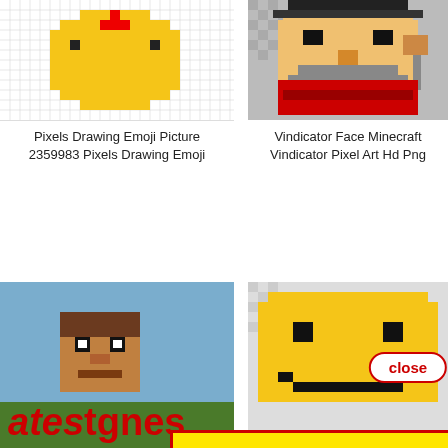[Figure (illustration): Pixel art emoji drawing on grid paper - top left image]
[Figure (illustration): Vindicator face Minecraft pixel art on checkered background - top right image]
Pixels Drawing Emoji Picture 2359983 Pixels Drawing Emoji
Vindicator Face Minecraft Vindicator Pixel Art Hd Png
[Figure (illustration): Pixel art Minecraft character peeking - mid left image]
[Figure (illustration): Smiley pixel art clipart - mid right image]
Pixel... M...
Smiley clipart
[Figure (illustration): Close button UI overlay (red bordered pill shape with 'close' text in red)]
[Figure (illustration): Large yellow rectangle overlay with red border covering most of the lower portion of the page]
ates...gnes